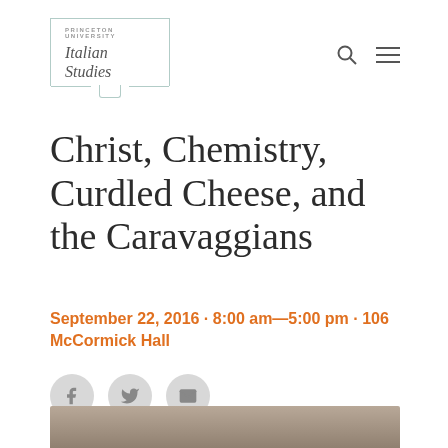PRINCETON UNIVERSITY Italian Studies
Christ, Chemistry, Curdled Cheese, and the Caravaggians
September 22, 2016 · 8:00 am—5:00 pm · 106 McCormick Hall
[Figure (illustration): Social sharing icons: Facebook, Twitter, Email — circular gray buttons]